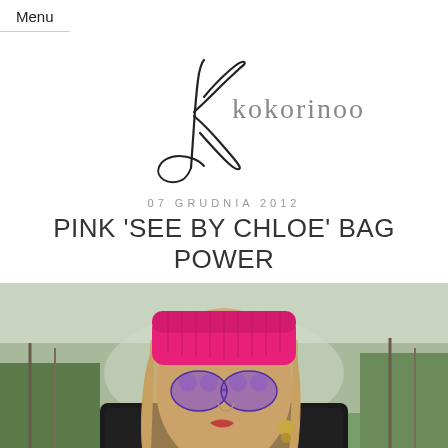Menu
[Figure (logo): Kokorinoo blog logo — handwritten-style cursive text 'Kokorinoo' with a decorative flourish]
07 GRUDNIA 2012
PINK 'SEE BY CHLOE' BAG POWER
[Figure (photo): Fashion blogger wearing a bright pink knit beanie hat, purple heart-shaped sunglasses, gold drop earrings, and a black textured coat. Background shows a park with bare trees and green grass.]